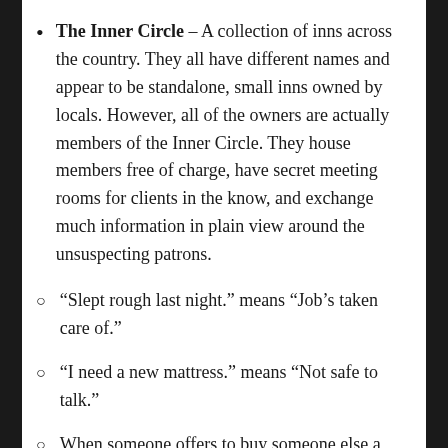The Inner Circle – A collection of inns across the country. They all have different names and appear to be standalone, small inns owned by locals. However, all of the owners are actually members of the Inner Circle. They house members free of charge, have secret meeting rooms for clients in the know, and exchange much information in plain view around the unsuspecting patrons.
“Slept rough last night.” means “Job’s taken care of.”
“I need a new mattress.” means “Not safe to talk.”
When someone offers to buy someone else a